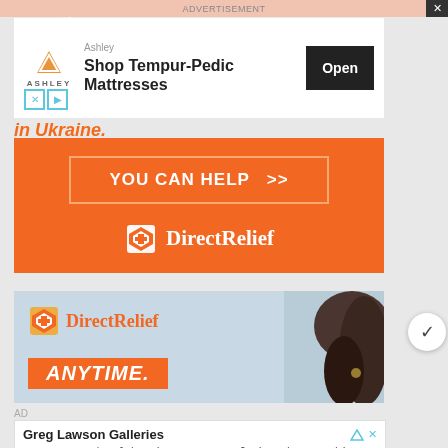ADVERTISEMENT
[Figure (screenshot): Getting aid text partially visible behind advertisement overlay]
[Figure (screenshot): Ashley furniture advertisement banner with logo, 'Shop Tempur-Pedic Mattresses' text and Open button]
in Ukraine.
[Figure (screenshot): Direct Relief orange advertisement with 'YOU CAN HELP >>' button and DirectRelief logo]
[Figure (screenshot): Direct Relief second advertisement showing logo, 'ANYTIME.' text and person silhouette]
AD
[Figure (screenshot): Greg Lawson Galleries advertisement: 'Greg Lawson | Celebrating 50 Years of Fine Photographic Art, Greg Lawson Galleries']